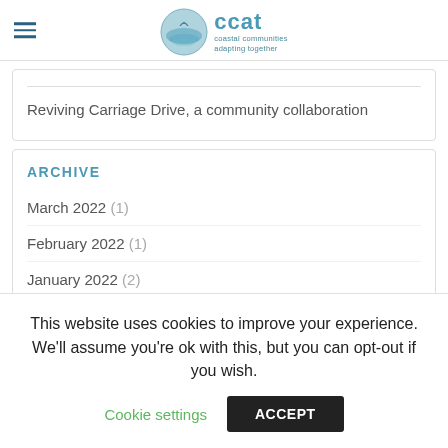ccat — coastal communities adapting together
Reviving Carriage Drive, a community collaboration
ARCHIVE
March 2022 (1)
February 2022 (1)
January 2022 (2)
December 2021 (4)
This website uses cookies to improve your experience. We'll assume you're ok with this, but you can opt-out if you wish.
Cookie settings  ACCEPT